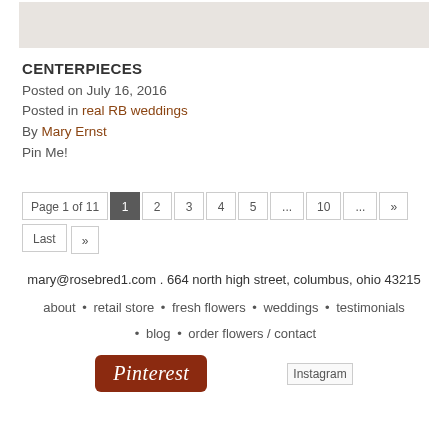[Figure (photo): Top image area showing a light beige/gray background, partial view of a floral centerpiece photo]
CENTERPIECES
Posted on July 16, 2016
Posted in real RB weddings
By Mary Ernst
Pin Me!
Page 1 of 11  1  2  3  4  5  ...  10  ...  »  Last »
mary@rosebred1.com . 664 north high street, columbus, ohio 43215
about • retail store • fresh flowers • weddings • testimonials • blog • order flowers / contact
[Figure (logo): Pinterest button logo in brown/red]
[Figure (logo): Instagram placeholder image]